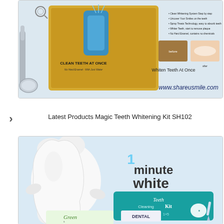[Figure (photo): Product photo of Magic Teeth Whitening Kit SH102 - gold packaging with dental cleaning tools, showing 'Clean Teeth At Once' text and 'Whiten Teeth At Once' with before/after smile images. Website www.shareususmile.com visible at bottom.]
Latest Products Magic Teeth Whitening Kit SH102
[Figure (photo): Product photo showing '1 minute white' teeth cleaning kit with cartoon tooth character, teal packaging labeled 'Teeth Cleaning Kit' and 'Dental' branding.]